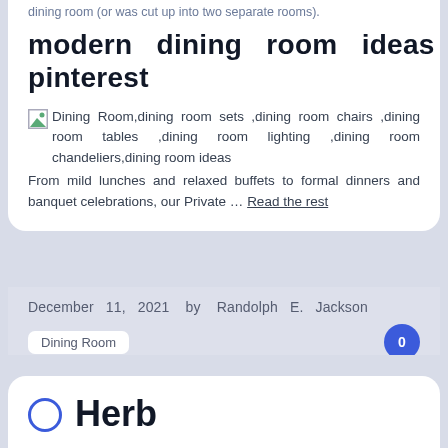dining room (or was cut up into two separate rooms).
modern dining room ideas pinterest
[Figure (illustration): Broken image placeholder icon]
Dining Room,dining room sets ,dining room chairs ,dining room tables ,dining room lighting ,dining room chandeliers,dining room ideas
From mild lunches and relaxed buffets to formal dinners and banquet celebrations, our Private … Read the rest
December 11, 2021 by Randolph E. Jackson
Dining Room
0
Herb